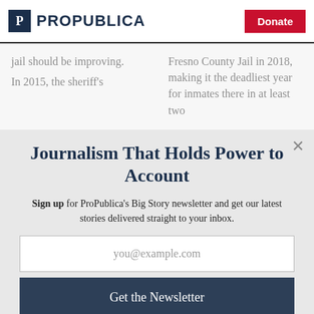ProPublica | Donate
jail should be improving.

In 2015, the sheriff's
Fresno County Jail in 2018, making it the deadliest year for inmates there in at least two
Journalism That Holds Power to Account
Sign up for ProPublica's Big Story newsletter and get our latest stories delivered straight to your inbox.
you@example.com
Get the Newsletter
No thanks, I'm all set
This site is protected by reCAPTCHA and the Google Privacy Policy and Terms of Service apply.